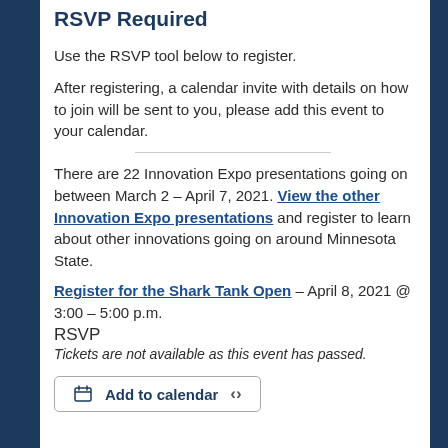RSVP Required
Use the RSVP tool below to register.
After registering, a calendar invite with details on how to join will be sent to you, please add this event to your calendar.
There are 22 Innovation Expo presentations going on between March 2 – April 7, 2021. View the other Innovation Expo presentations and register to learn about other innovations going on around Minnesota State.
Register for the Shark Tank Open – April 8, 2021 @ 3:00 – 5:00 p.m.
RSVP
Tickets are not available as this event has passed.
Add to calendar